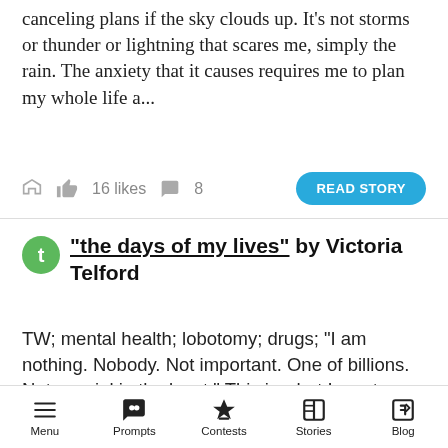canceling plans if the sky clouds up. It's not storms or thunder or lightning that scares me, simply the rain. The anxiety that it causes requires me to plan my whole life a...
16 likes   8   READ STORY
"the days of my lives" by Victoria Telford
TW; mental health; lobotomy; drugs; "I am nothing. Nobody. Not important. One of billions. Not special in the least." This is what I use to repeat to myself every day. Pathetic, I know. You would, too, if you had been subjected to the lonely, guilt-riddled, tortured existence I had. Not that I'm blaming anyone. I
Menu   Prompts   Contests   Stories   Blog